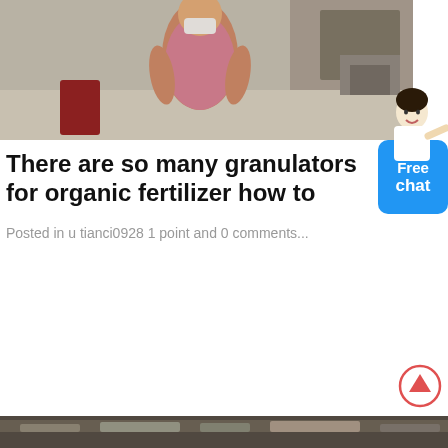[Figure (photo): A man wearing a mask standing in front of a concrete building/construction site background]
There are so many granulators for organic fertilizer how to
Posted in u tianci0928 1 point and 0 comments...
[Figure (photo): Partial photo at the bottom of the page, dark toned image]